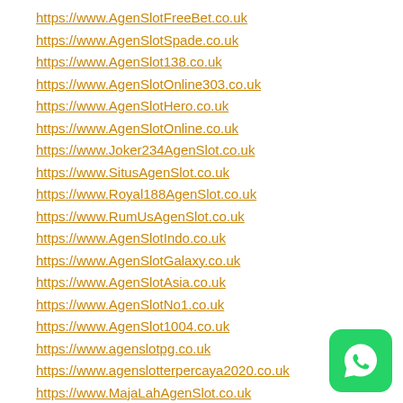https://www.AgenSlotFreeBet.co.uk
https://www.AgenSlotSpade.co.uk
https://www.AgenSlot138.co.uk
https://www.AgenSlotOnline303.co.uk
https://www.AgenSlotHero.co.uk
https://www.AgenSlotOnline.co.uk
https://www.Joker234AgenSlot.co.uk
https://www.SitusAgenSlot.co.uk
https://www.Royal188AgenSlot.co.uk
https://www.RumUsAgenSlot.co.uk
https://www.AgenSlotIndo.co.uk
https://www.AgenSlotGalaxy.co.uk
https://www.AgenSlotAsia.co.uk
https://www.AgenSlotNo1.co.uk
https://www.AgenSlot1004.co.uk
https://www.agenslotpg.co.uk
https://www.agenslotterpercaya2020.co.uk
https://www.MajaLahAgenSlot.co.uk
https://www.AgenSlot33.co.uk
[Figure (logo): WhatsApp icon button, green rounded square with WhatsApp phone logo in white]